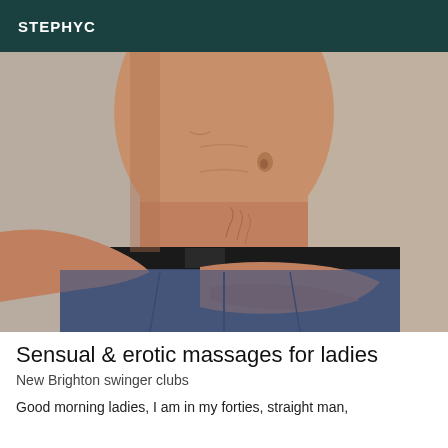STEPHYC
[Figure (photo): Close-up photo of a shirtless man's torso wearing dark jeans with a black belt, his hand resting on his waist/hip area, against a light grey background.]
Sensual & erotic massages for ladies
New Brighton swinger clubs
Good morning ladies, I am in my forties, straight man,